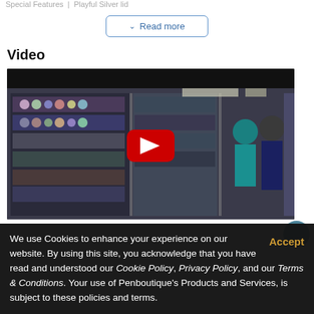Special Features | Playful Silver lid
v Read more
Video
[Figure (screenshot): YouTube video thumbnail showing a store interior with shelves of products. Two people (a woman in teal and a man in navy) appear to be talking. A red YouTube play button is overlaid in the center.]
We use Cookies to enhance your experience on our website. By using this site, you acknowledge that you have read and understood our Cookie Policy, Privacy Policy, and our Terms & Conditions. Your use of Penboutique’s Products and Services, is subject to these policies and terms.